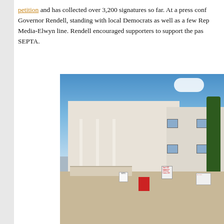petition and has collected over 3,200 signatures so far. At a press conf Governor Rendell, standing with local Democrats as well as a few Rep Media-Elwyn line. Rendell encouraged supporters to support the pas SEPTA.
[Figure (photo): Protesters holding signs including SEPTA signs gathered in front of a large neoclassical white government building with columns, on a sunny day with blue sky.]